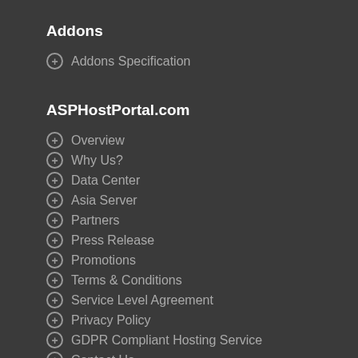Addons
Addons Specification
ASPHostPortal.com
Overview
Why Us?
Data Center
Asia Server
Partners
Press Release
Promotions
Terms & Conditions
Service Level Agreement
Privacy Policy
GDPR Compliant Hosting Service
Contact Us
Windows SharePoint 2010 Hosting
SharePoint 2010 Hosting Level 1